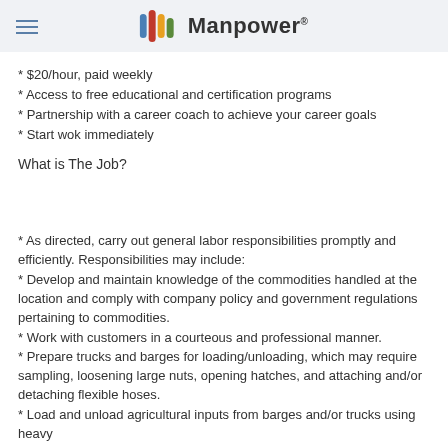Manpower
* $20/hour, paid weekly
* Access to free educational and certification programs
* Partnership with a career coach to achieve your career goals
* Start wok immediately
What is The Job?
* As directed, carry out general labor responsibilities promptly and efficiently. Responsibilities may include:
* Develop and maintain knowledge of the commodities handled at the location and comply with company policy and government regulations pertaining to commodities.
* Work with customers in a courteous and professional manner.
* Prepare trucks and barges for loading/unloading, which may require sampling, loosening large nuts, opening hatches, and attaching and/or detaching flexible hoses.
* Load and unload agricultural inputs from barges and/or trucks using heavy